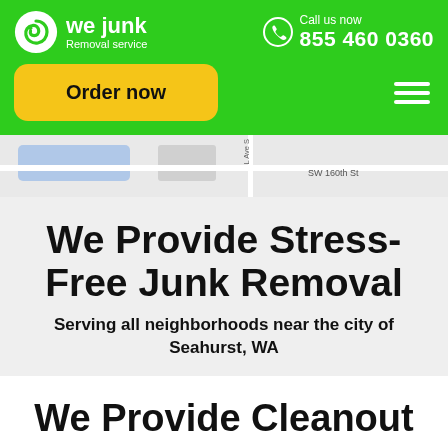[Figure (logo): We Junk Removal Service logo with spiral icon]
Call us now 855 460 0360
Order now
[Figure (map): Street map showing SW 160th St area]
We Provide Stress-Free Junk Removal
Serving all neighborhoods near the city of Seahurst, WA
We Provide Cleanout